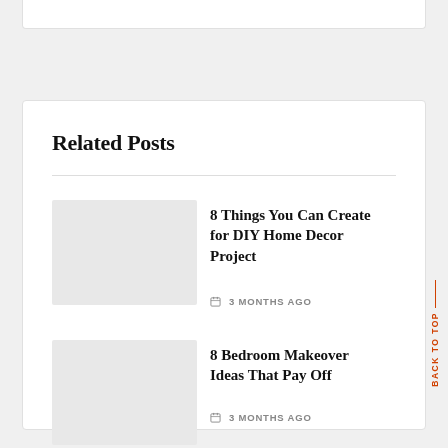Related Posts
8 Things You Can Create for DIY Home Decor Project
3 MONTHS AGO
8 Bedroom Makeover Ideas That Pay Off
3 MONTHS AGO